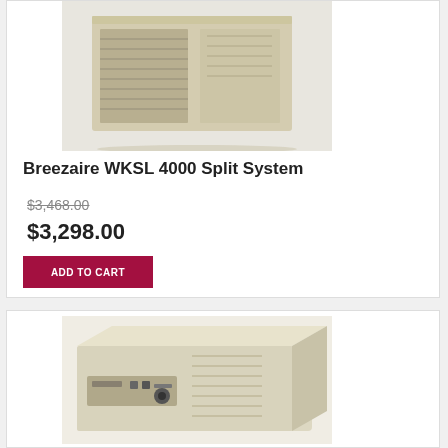[Figure (photo): Breezaire WKSL 4000 Split System wine cellar cooling unit - front view showing grille]
Breezaire WKSL 4000 Split System
$3,468.00 (strikethrough original price)
$3,298.00
ADD TO CART
[Figure (photo): Second wine cooling unit product image - beige/cream colored box unit]